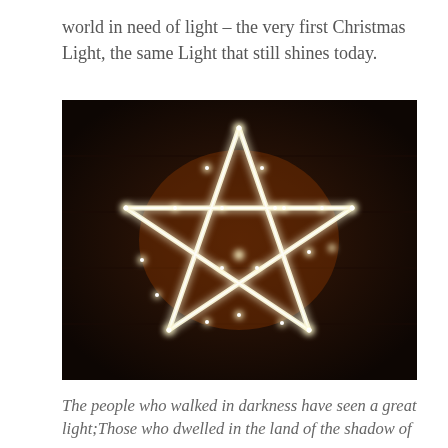world in need of light – the very first Christmas Light, the same Light that still shines today.
[Figure (photo): A glowing star made of string lights mounted on a dark wooden wall background. The star shape is outlined with white/warm fairy lights creating a bright star silhouette against a dark brown/black background.]
The people who walked in darkness have seen a great light;Those who dwelled in the land of the shadow of